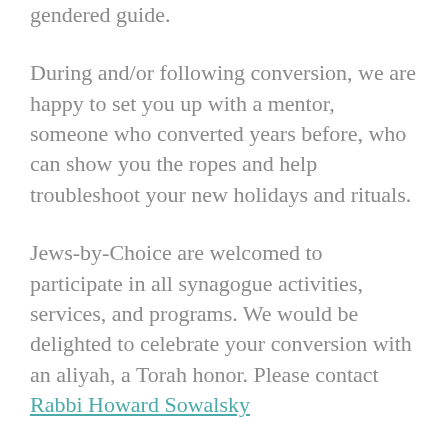gendered guide.
During and/or following conversion, we are happy to set you up with a mentor, someone who converted years before, who can show you the ropes and help troubleshoot your new holidays and rituals.
Jews-by-Choice are welcomed to participate in all synagogue activities, services, and programs. We would be delighted to celebrate your conversion with an aliyah, a Torah honor. Please contact Rabbi Howard Sowalsky